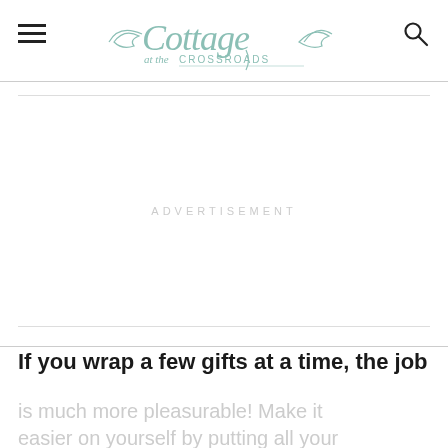Cottage at the Crossroads
[Figure (other): ADVERTISEMENT placeholder area]
If you wrap a few gifts at a time, the job
is much more pleasurable! Make it easier on yourself by putting all your